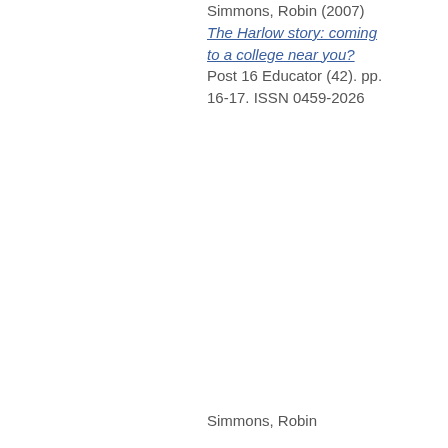Simmons, Robin (2007) The Harlow story: coming to a college near you? Post 16 Educator (42). pp. 16-17. ISSN 0459-2026
Simmons, Robin